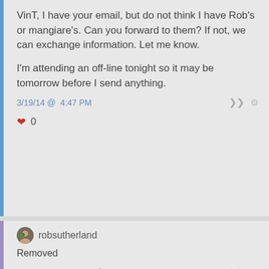VinT, I have your email, but do not think I have Rob's or mangiare's. Can you forward to them? If not, we can exchange information. Let me know.

I'm attending an off-line tonight so it may be tomorrow before I send anything.
3/19/14 @ 4:47 PM
♥ 0
robsutherland
Removed
3/19/14 @ 5:06 PM ✱